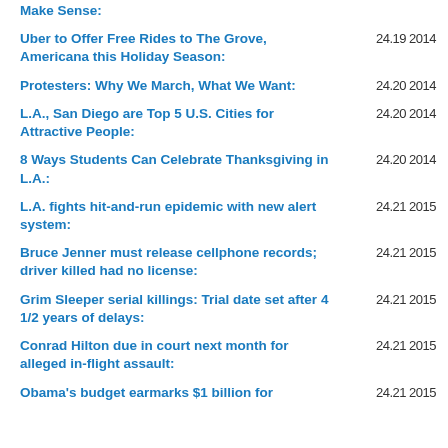Make Sense: 24.19 2014
Uber to Offer Free Rides to The Grove, Americana this Holiday Season: 24.19 2014
Protesters: Why We March, What We Want: 24.20 2014
L.A., San Diego are Top 5 U.S. Cities for Attractive People: 24.20 2014
8 Ways Students Can Celebrate Thanksgiving in L.A.: 24.20 2014
L.A. fights hit-and-run epidemic with new alert system: 24.21 2015
Bruce Jenner must release cellphone records; driver killed had no license: 24.21 2015
Grim Sleeper serial killings: Trial date set after 4 1/2 years of delays: 24.21 2015
Conrad Hilton due in court next month for alleged in-flight assault: 24.21 2015
Obama's budget earmarks $1 billion for 24.21 2015